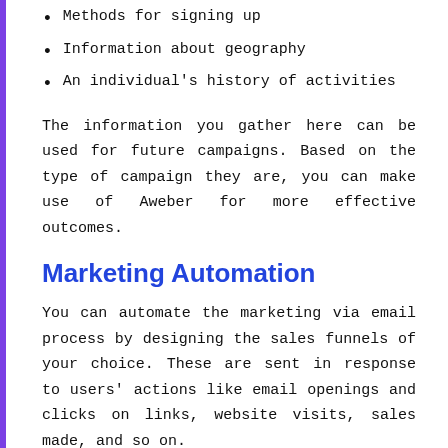Methods for signing up
Information about geography
An individual's history of activities
The information you gather here can be used for future campaigns. Based on the type of campaign they are, you can make use of Aweber for more effective outcomes.
Marketing Automation
You can automate the marketing via email process by designing the sales funnels of your choice. These are sent in response to users' actions like email openings and clicks on links, website visits, sales made, and so on.
When a subscriber clicks the link, Aweber assigns tags for the subscriber. The tags can determine which emails are sent to whom and when they are sent. This particular feature is